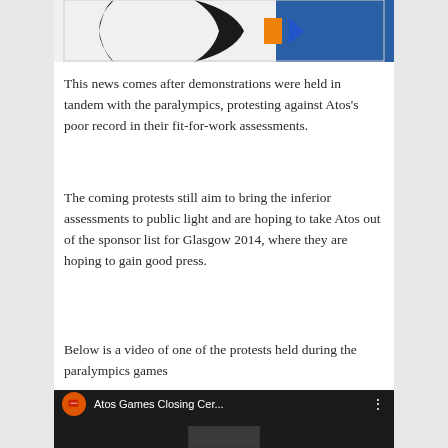[Figure (photo): Partial view of a logo or artwork with black curved shapes, an orange rectangle, and a blue triangle on a white/blue background]
This news comes after demonstrations were held in tandem with the paralympics, protesting against Atos's poor record in their fit-for-work assessments.
The coming protests still aim to bring the inferior assessments to public light and are hoping to take Atos out of the sponsor list for Glasgow 2014, where they are hoping to gain good press.
Below is a video of one of the protests held during the paralympics games
[Figure (screenshot): YouTube video thumbnail showing 'Atos Games Closing Cer...' with orange channel icon and protest scene below]